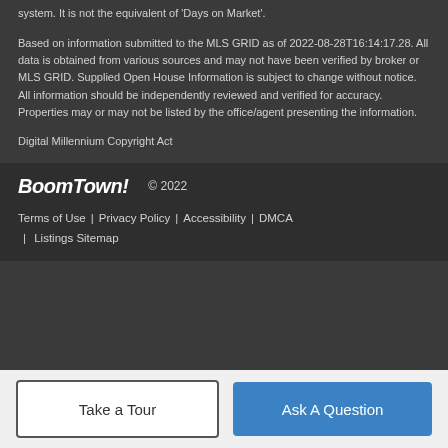system. It is not the equivalent of 'Days on Market'.
Based on information submitted to the MLS GRID as of 2022-08-28T16:14:17.28. All data is obtained from various sources and may not have been verified by broker or MLS GRID. Supplied Open House Information is subject to change without notice. All information should be independently reviewed and verified for accuracy. Properties may or may not be listed by the office/agent presenting the information.
Digital Millennium Copyright Act
BoomTown! © 2022
Terms of Use | Privacy Policy | Accessibility | DMCA | Listings Sitemap
Take a Tour
Ask A Question